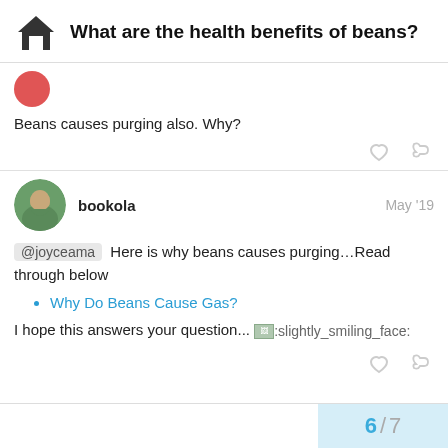What are the health benefits of beans?
Beans causes purging also. Why?
bookola  May '19
@joyceama Here is why beans causes purging…Read through below
Why Do Beans Cause Gas?
I hope this answers your question... :slightly_smiling_face:
6 / 7